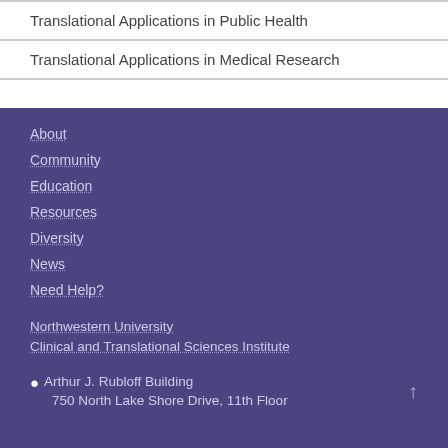Translational Applications in Public Health
Translational Applications in Medical Research
About
Community
Education
Resources
Diversity
News
Need Help?
Northwestern University Clinical and Translational Sciences Institute
Arthur J. Rubloff Building 750 North Lake Shore Drive, 11th Floor